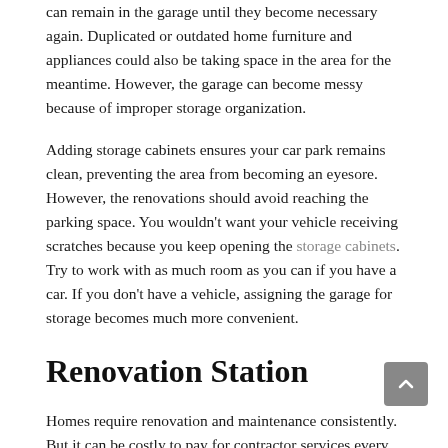can remain in the garage until they become necessary again. Duplicated or outdated home furniture and appliances could also be taking space in the area for the meantime. However, the garage can become messy because of improper storage organization.
Adding storage cabinets ensures your car park remains clean, preventing the area from becoming an eyesore. However, the renovations should avoid reaching the parking space. You wouldn't want your vehicle receiving scratches because you keep opening the storage cabinets. Try to work with as much room as you can if you have a car. If you don't have a vehicle, assigning the garage for storage becomes much more convenient.
Renovation Station
Homes require renovation and maintenance consistently. But it can be costly to pay for contractor services every time an issue pops up. Chances are that your home will encounter maintenance needs twice a month. As a result, home maintenance skills become a priority for you to learn.